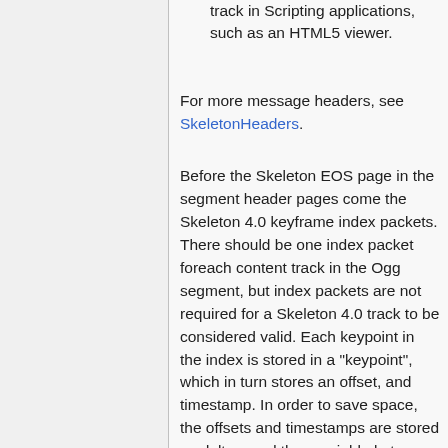track in Scripting applications, such as an HTML5 viewer.
For more message headers, see SkeletonHeaders.
Before the Skeleton EOS page in the segment header pages come the Skeleton 4.0 keyframe index packets. There should be one index packet foreach content track in the Ogg segment, but index packets are not required for a Skeleton 4.0 track to be considered valid. Each keypoint in the index is stored in a "keypoint", which in turn stores an offset, and timestamp. In order to save space, the offsets and timestamps are stored as deltas, and then variable byte-encoded. The offset and timestamp deltas store the difference between the keypoint's offset and timestamp from the previous